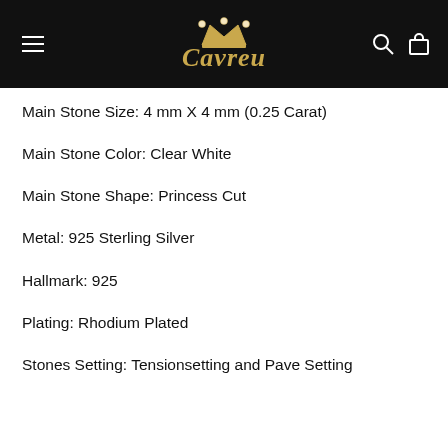Cavreu (logo with crown)
Main Stone Size: 4 mm X 4 mm (0.25 Carat)
Main Stone Color: Clear White
Main Stone Shape: Princess Cut
Metal: 925 Sterling Silver
Hallmark: 925
Plating: Rhodium Plated
Stones Setting: Tensionsetting and Pave Setting